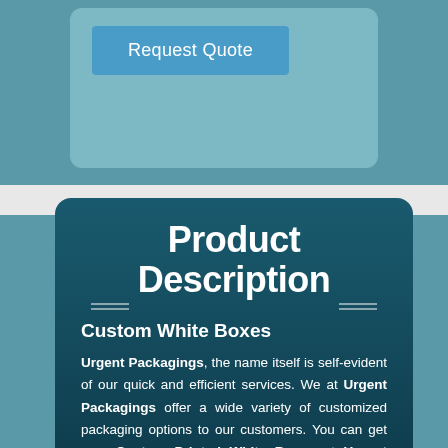[Figure (screenshot): Blue request quote button inside a teal rounded box on a teal background]
Product Description
Custom White Boxes
Urgent Packagings, the name itself is self-evident of our quick and efficient services. We at Urgent Packagings offer a wide variety of customized packaging options to our customers. You can get your Custom Printed White Boxes at Urgent Packagings in cost-effective manner. We specialize in retail as well as wholesale Custom Packaging.